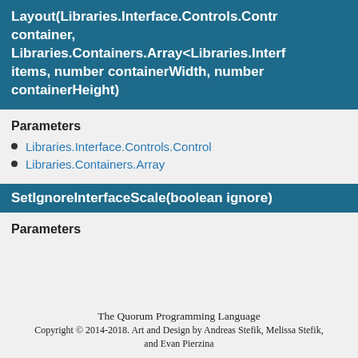Layout(Libraries.Interface.Controls.Control container, Libraries.Containers.Array<Libraries.Interface items, number containerWidth, number containerHeight)
Parameters
Libraries.Interface.Controls.Control
Libraries.Containers.Array
SetIgnoreInterfaceScale(boolean ignore)
Parameters
The Quorum Programming Language
Copyright © 2014-2018. Art and Design by Andreas Stefik, Melissa Stefik, and Evan Pierzina